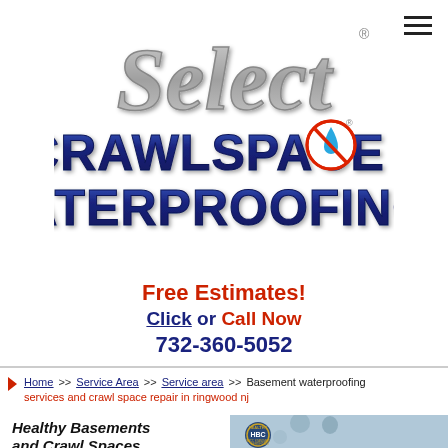[Figure (logo): Select Crawlspace Waterproofing logo — 'Select' in large stylized gray script lettering with a registered trademark symbol, then 'CRAWLSPACE' in bold blue 3D block letters with a red circle-slash waterproof symbol, and 'WATERPROOFING' in bold blue 3D block letters below.]
Free Estimates!
Click or Call Now
732-360-5052
Home >> Service Area >> Service area >> Basement waterproofing services and crawl space repair in ringwood nj
Healthy Basements and Crawl Spaces
If your basement or crawl space is not
[Figure (photo): Happy family (man, woman, child) relaxing on a couch, with an HBC (Healthy Basements Certificate) badge overlay showing 'HEALTHY', 'HBC', 'GPCC STANDARD', 'CERTIFICATE']